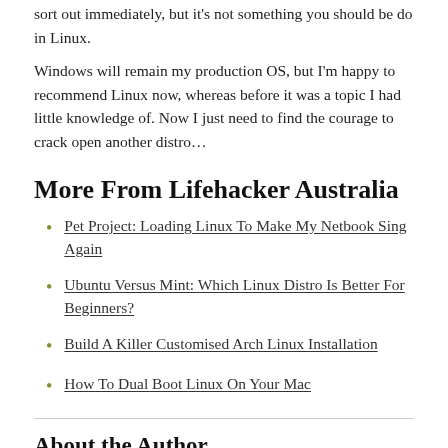sort out immediately, but it's not something you should be do in Linux.
Windows will remain my production OS, but I'm happy to recommend Linux now, whereas before it was a topic I had little knowledge of. Now I just need to find the courage to crack open another distro...
More From Lifehacker Australia
Pet Project: Loading Linux To Make My Netbook Sing Again
Ubuntu Versus Mint: Which Linux Distro Is Better For Beginners?
Build A Killer Customised Arch Linux Installation
How To Dual Boot Linux On Your Mac
About the Author
James Dyder